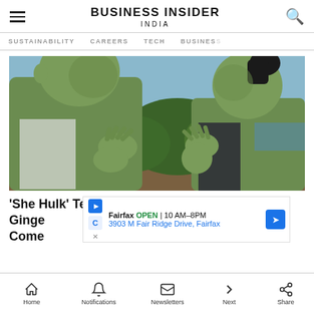BUSINESS INSIDER INDIA
SUSTAINABILITY   CAREERS   TECH   BUSINESS
[Figure (photo): Two green-skinned Hulk characters (She-Hulk and Hulk) facing each other with hands pressed together in a jungle/outdoor setting. From the Marvel Disney+ series She-Hulk.]
'She Hulk' Team. Stars Tatiana Maslany And Ginger ...loud Come...
Home   Notifications   Newsletters   Next   Share